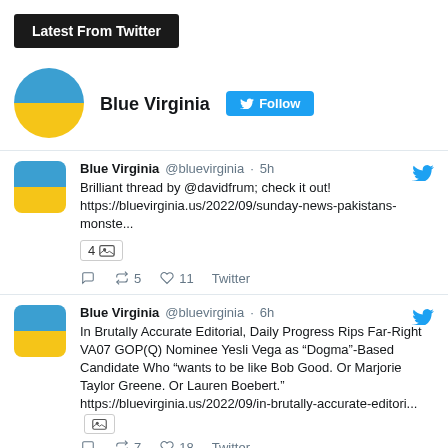Latest From Twitter
Blue Virginia @bluevirginia · 5h
Brilliant thread by @davidfrum; check it out!
https://bluevirginia.us/2022/09/sunday-news-pakistans-monste...
4 [image]
Reply Retweet 5 Like 11 Twitter
Blue Virginia @bluevirginia · 6h
In Brutally Accurate Editorial, Daily Progress Rips Far-Right VA07 GOP(Q) Nominee Yesli Vega as “Dogma”-Based Candidate Who “wants to be like Bob Good. Or Marjorie Taylor Greene. Or Lauren Boebert.” https://bluevirginia.us/2022/09/in-brutally-accurate-editori... [image]
Reply Retweet 7 Like 18 Twitter